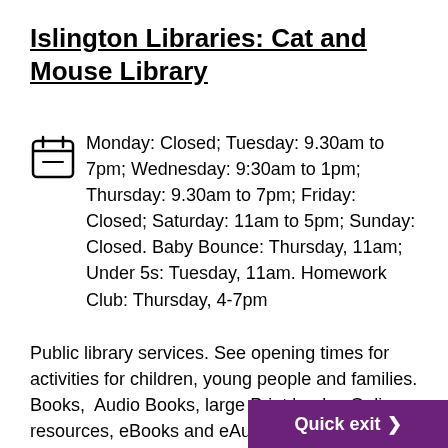Islington Libraries: Cat and Mouse Library
Monday: Closed; Tuesday: 9.30am to 7pm; Wednesday: 9:30am to 1pm; Thursday: 9.30am to 7pm; Friday: Closed; Saturday: 11am to 5pm; Sunday: Closed. Baby Bounce: Thursday, 11am; Under 5s: Tuesday, 11am. Homework Club: Thursday, 4-7pm
Public library services. See opening times for activities for children, young people and families. Books,  Audio Books, large Print books. Online resources, eBooks and eAudio, eN... newspapers  Free public Wi-Fi, 6 computers and Internet access. Study tables...